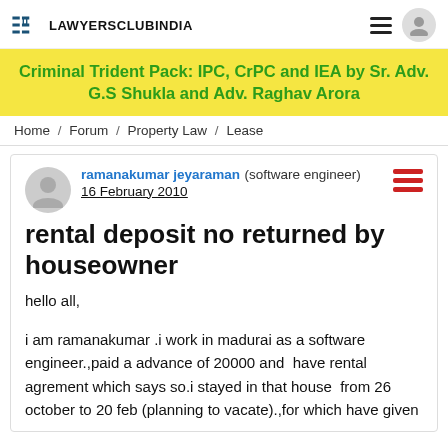LAWYERSCLUBINDIA
Criminal Trident Pack: IPC, CrPC and IEA by Sr. Adv. G.S Shukla and Adv. Raghav Arora
Home / Forum / Property Law / Lease
ramanakumar jeyaraman (software engineer) 16 February 2010
rental deposit no returned by houseowner
hello all,
i am ramanakumar .i work in madurai as a software engineer.,paid a advance of 20000 and  have rental agrement which says so.i stayed in that house  from 26 october to 20 feb (planning to vacate).,for which have given